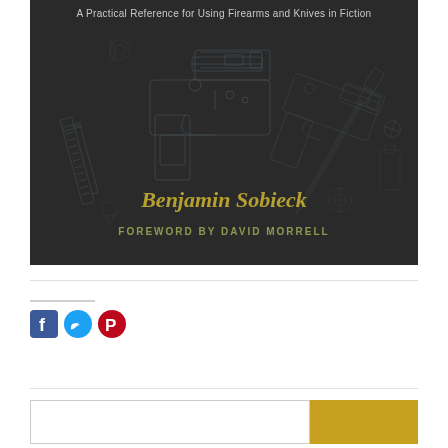[Figure (illustration): Book cover with dark background showing blueprint-style exploded diagrams of firearms and knives. Title text reads 'A Practical Reference for Using Firearms and Knives in Fiction'. Author name 'Benjamin Sobieck' in gold italic serif. 'FOREWORD BY DAVID MORRELL' in olive/green spaced caps.]
[Figure (logo): Three social media icons: Facebook (blue square with f), Twitter (blue bird), Pinterest (red P)]